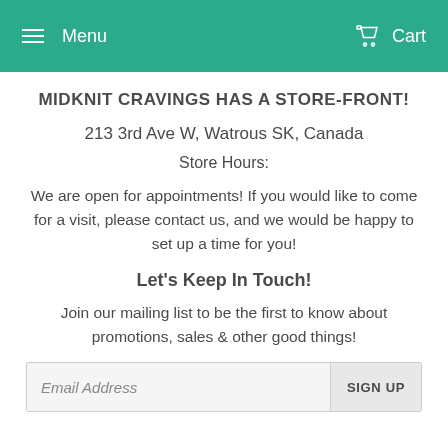Menu  Cart
MIDKNIT CRAVINGS HAS A STORE-FRONT!
213 3rd Ave W, Watrous SK, Canada
Store Hours:
We are open for appointments! If you would like to come for a visit, please contact us, and we would be happy to set up a time for you!
Let's Keep In Touch!
Join our mailing list to be the first to know about promotions, sales & other good things!
Email Address  SIGN UP